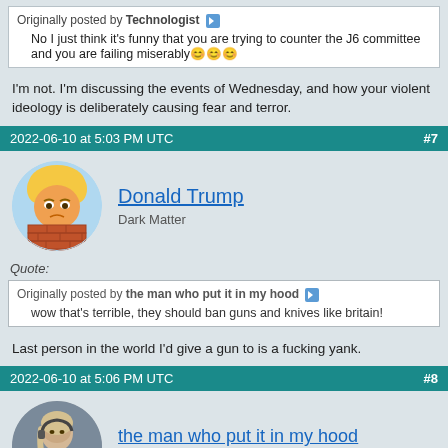Originally posted by Technologist [arrow] No I just think it's funny that you are trying to counter the J6 committee and you are failing miserably 😊😊😊
I'm not. I'm discussing the events of Wednesday, and how your violent ideology is deliberately causing fear and terror.
2022-06-10 at 5:03 PM UTC #7
[Figure (illustration): Cartoon avatar of Donald Trump as a forum user icon, circular, showing stylized orange-faced character with blonde hair behind a brick wall]
Donald Trump
Dark Matter
Quote: Originally posted by the man who put it in my hood [arrow] wow that's terrible, they should ban guns and knives like britain!
Last person in the world I'd give a gun to is a fucking yank.
2022-06-10 at 5:06 PM UTC #8
[Figure (photo): Photo of a woman with headset, used as forum user avatar, circular crop]
the man who put it in my hood
Black Hole